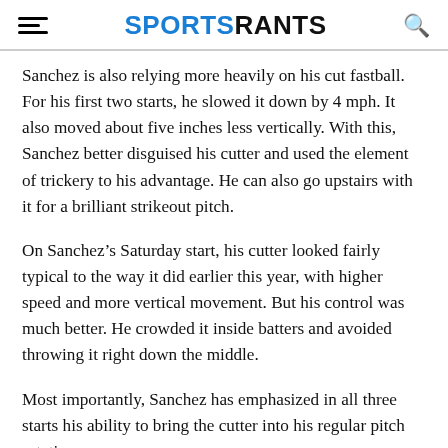SPORTSRANTS
Sanchez is also relying more heavily on his cut fastball. For his first two starts, he slowed it down by 4 mph. It also moved about five inches less vertically. With this, Sanchez better disguised his cutter and used the element of trickery to his advantage. He can also go upstairs with it for a brilliant strikeout pitch.
On Sanchez’s Saturday start, his cutter looked fairly typical to the way it did earlier this year, with higher speed and more vertical movement. But his control was much better. He crowded it inside batters and avoided throwing it right down the middle.
Most importantly, Sanchez has emphasized in all three starts his ability to bring the cutter into his regular pitch rotation.